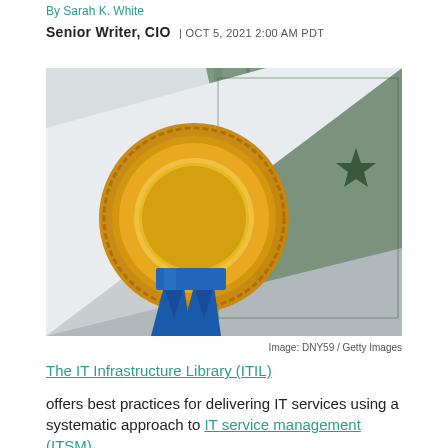By Sarah K. White
Senior Writer, CIO | OCT 5, 2021 2:00 AM PDT
[Figure (photo): A gold seal award medal with blue ribbon sitting on a certificate document with green engraved border]
Image: DNY59 / Getty Images
The IT Infrastructure Library (ITIL)
offers best practices for delivering IT services using a systematic approach to IT service management (ITSM)